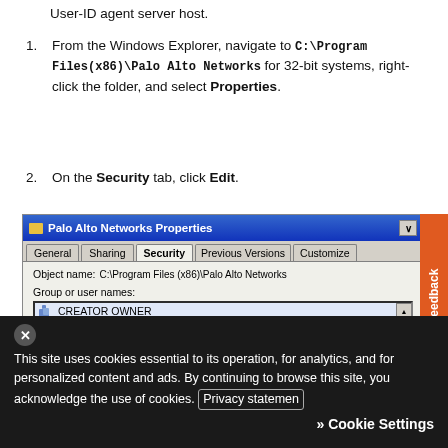User-ID agent server host.
From the Windows Explorer, navigate to C:\Program Files(x86)\Palo Alto Networks for 32-bit systems, right-click the folder, and select Properties.
On the Security tab, click Edit.
[Figure (screenshot): Windows Properties dialog showing 'Palo Alto Networks Properties' with Security tab active, displaying Object name C:\Program Files (x86)\Palo Alto Networks, Group or user names list with CREATOR OWNER, SYSTEM, Administrators, Users entries.]
This site uses cookies essential to its operation, for analytics, and for personalized content and ads. By continuing to browse this site, you acknowledge the use of cookies. Privacy statement
Cookie Settings